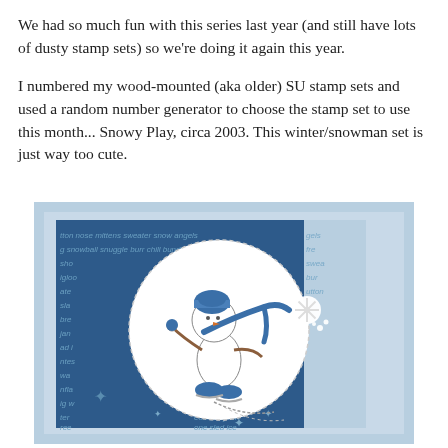We had so much fun with this series last year (and still have lots of dusty stamp sets) so we're doing it again this year.
I numbered my wood-mounted (aka older) SU stamp sets and used a random number generator to choose the stamp set to use this month... Snowy Play, circa 2003. This winter/snowman set is just way too cute.
[Figure (photo): A handmade greeting card featuring a stamped image of a snowman ice skating, wearing a blue winter hat and scarf, inside a white circular die-cut. The background is blue patterned paper with winter words and snowflakes. A white snowflake embellishment is on the right side of the circle. The card is layered with light blue cardstock.]